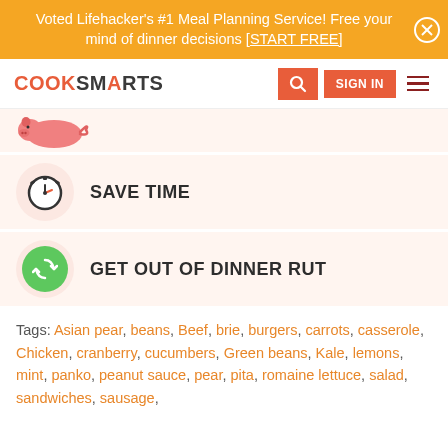Voted Lifehacker's #1 Meal Planning Service! Free your mind of dinner decisions [START FREE]
[Figure (screenshot): CookSmarts navigation bar with logo, search icon, SIGN IN button, and hamburger menu]
[Figure (illustration): Partial pig illustration icon on pink/peach background card]
SAVE TIME
GET OUT OF DINNER RUT
Tags: Asian pear, beans, Beef, brie, burgers, carrots, casserole, Chicken, cranberry, cucumbers, Green beans, Kale, lemons, mint, panko, peanut sauce, pear, pita, romaine lettuce, salad, sandwiches, sausage,